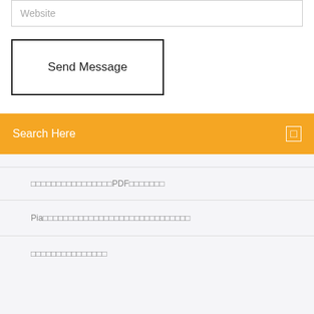Website
Send Message
Search Here
▯▯▯▯▯▯▯▯▯▯▯▯▯▯▯▯PDF▯▯▯▯▯▯▯
Pia▯▯▯▯▯▯▯▯▯▯▯▯▯▯▯▯▯▯▯▯▯▯▯▯▯▯▯▯▯
▯▯▯▯▯▯▯▯▯▯▯▯▯▯▯